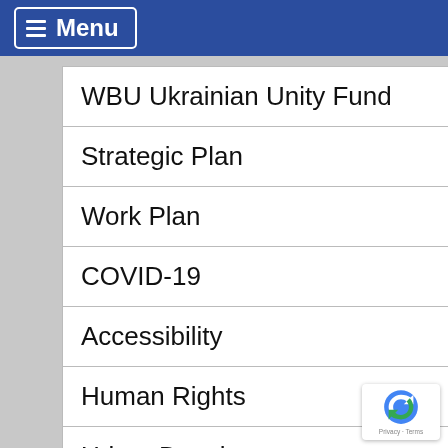≡ Menu
WBU Ukrainian Unity Fund
Strategic Plan
Work Plan
COVID-19
Accessibility
Human Rights
Urban Development
Employment
Education
Scholarships
Scholarships